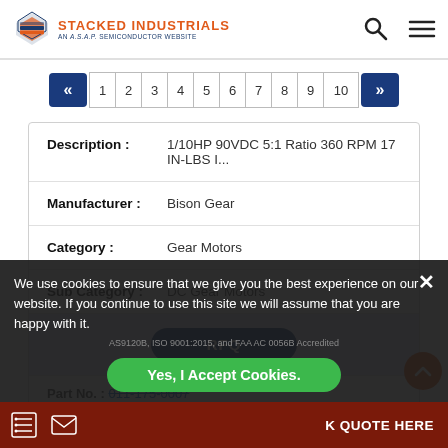STACKED INDUSTRIALS — AN A.S.A.P. SEMICONDUCTOR WEBSITE
| Field | Value |
| --- | --- |
| Description : | 1/10HP 90VDC 5:1 Ratio 360 RPM 17 IN-LBS I... |
| Manufacturer : | Bison Gear |
| Category : | Gear Motors |
| Sub Category : | DC Gear Motors |
RFQ
Part No. : 011-175-0007
AS9120B, ISO 9001:2015, and FAA AC 0056B Accredited
We use cookies to ensure that we give you the best experience on our website. If you continue to use this site we will assume that you are happy with it.
Yes, I Accept Cookies.
K QUOTE HERE